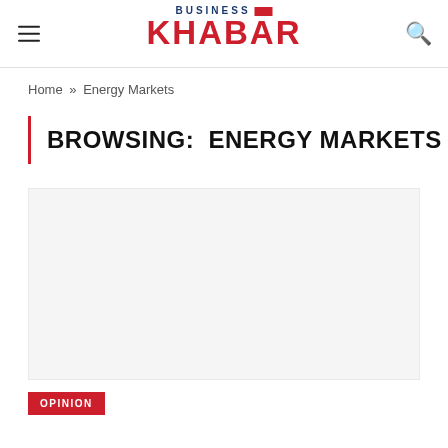BUSINESS KHABAR
Home » Energy Markets
BROWSING:  ENERGY MARKETS
[Figure (photo): Article thumbnail image placeholder (light gray box)]
OPINION